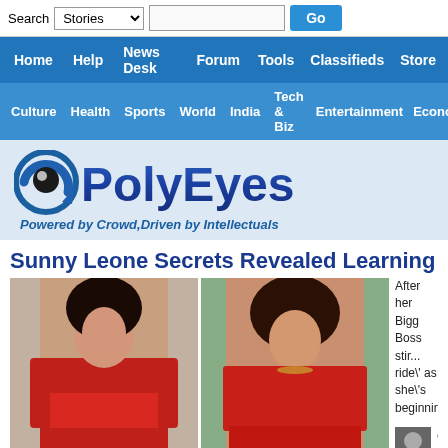Search Stories Go | Home Help News Desk Forum Tools Classifieds Store | Culture Health Sports World India Tech & Biz Entertainment Economy Gen
[Figure (logo): PolyEyes logo with circular eye icon and text 'PolyEyes', tagline 'Powered by Crowd,Driven by Intellectuals']
Sunny Leone Secrets Revealed Learning Hi...
[Figure (photo): Two photos of women in red outfits]
After her Bigg Boss stir... ride\' as she\'s beginnin...
created by Po... views | 0 com...